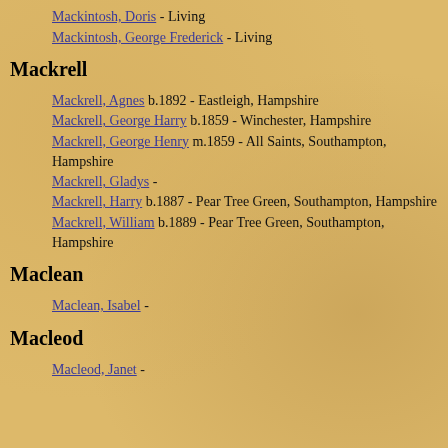Mackintosh, Doris - Living
Mackintosh, George Frederick - Living
Mackrell
Mackrell, Agnes b.1892 - Eastleigh, Hampshire
Mackrell, George Harry b.1859 - Winchester, Hampshire
Mackrell, George Henry m.1859 - All Saints, Southampton, Hampshire
Mackrell, Gladys -
Mackrell, Harry b.1887 - Pear Tree Green, Southampton, Hampshire
Mackrell, William b.1889 - Pear Tree Green, Southampton, Hampshire
Maclean
Maclean, Isabel -
Macleod
Macleod, Janet -